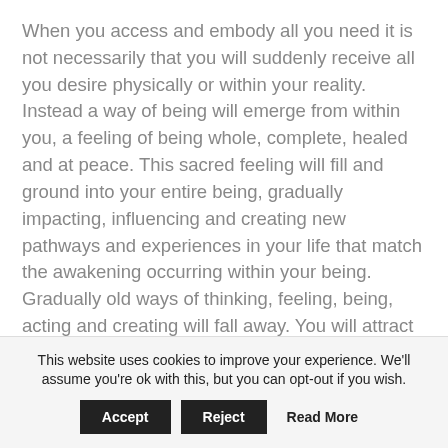When you access and embody all you need it is not necessarily that you will suddenly receive all you desire physically or within your reality. Instead a way of being will emerge from within you, a feeling of being whole, complete, healed and at peace. This sacred feeling will fill and ground into your entire being, gradually impacting, influencing and creating new pathways and experiences in your life that match the awakening occurring within your being. Gradually old ways of thinking, feeling, being, acting and creating will fall away. You will attract new energies, people and experiences that match the vibration you have become and embodied. This may be a gradual process for some, or it may be swift awakening, the embodiment will take place at a pace which most serves you.
This website uses cookies to improve your experience. We'll assume you're ok with this, but you can opt-out if you wish. Accept Reject Read More